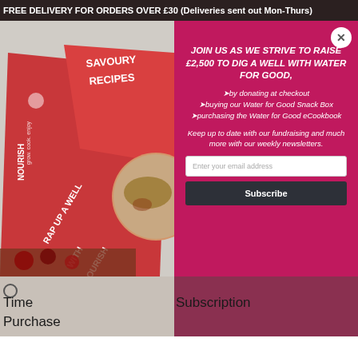FREE DELIVERY FOR ORDERS OVER £30 (Deliveries sent out Mon-Thurs)
[Figure (photo): Nourish cookbook with savoury recipes text visible, showing a promotional booklet with circular food photograph inset]
JOIN US AS WE STRIVE TO RAISE £2,500 TO DIG A WELL WITH WATER FOR GOOD,
🔹by donating at checkout
🔹buying our Water for Good Snack Box
🔹purchasing the Water for Good eCookbook
Keep up to date with our fundraising and much more with our weekly newsletters.
Enter your email address
Subscribe
Time
Subscription
Purchase